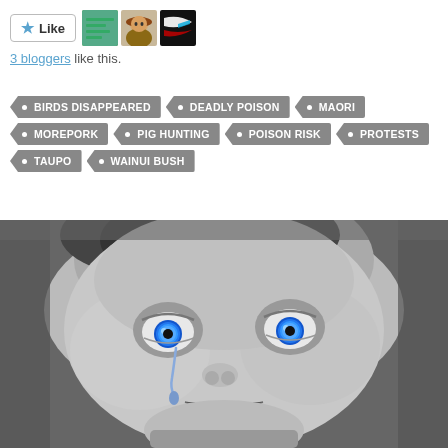[Figure (screenshot): Like button with star icon and three blogger avatar thumbnails]
3 bloggers like this.
BIRDS DISAPPEARED
DEADLY POISON
MAORI
MOREPORK
PIG HUNTING
POISON RISK
PROTESTS
TAUPO
WAINUI BUSH
[Figure (photo): Black and white close-up photo of a crying baby with blue glowing eyes and a tear falling down the cheek]